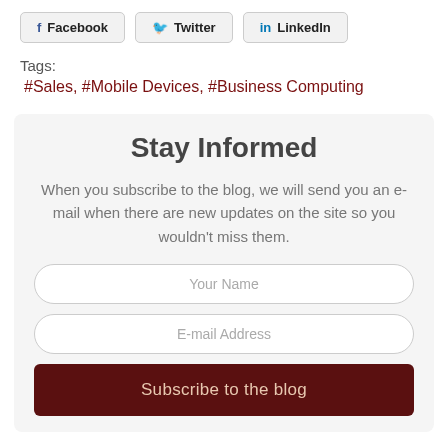[Figure (other): Social sharing buttons: Facebook, Twitter, LinkedIn]
Tags:
#Sales, #Mobile Devices, #Business Computing
Stay Informed
When you subscribe to the blog, we will send you an e-mail when there are new updates on the site so you wouldn't miss them.
Your Name
E-mail Address
Subscribe to the blog